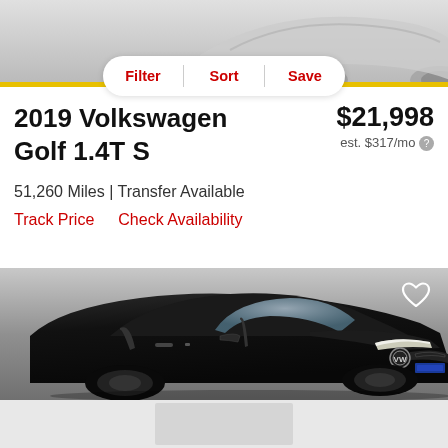[Figure (photo): Top portion of a white/silver Volkswagen Golf car photo, showing partial view of the vehicle from above, on a gray background]
Filter | Sort | Save
2019 Volkswagen Golf 1.4T S
$21,998
est. $317/mo ?
51,260 Miles | Transfer Available
Track Price   Check Availability
[Figure (photo): Black Volkswagen Golf hatchback car photographed on a gray background, front three-quarter view, with a heart/favorite icon in the top right corner]